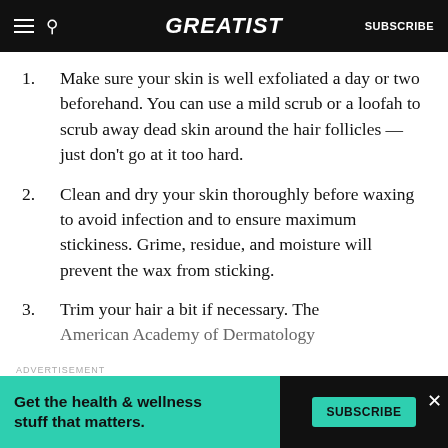GREATIST | SUBSCRIBE
Make sure your skin is well exfoliated a day or two beforehand. You can use a mild scrub or a loofah to scrub away dead skin around the hair follicles — just don't go at it too hard.
Clean and dry your skin thoroughly before waxing to avoid infection and to ensure maximum stickiness. Grime, residue, and moisture will prevent the wax from sticking.
Trim your hair a bit if necessary. The American Academy of Dermatology
ADVERTISEMENT
Get the health & wellness stuff that matters. SUBSCRIBE